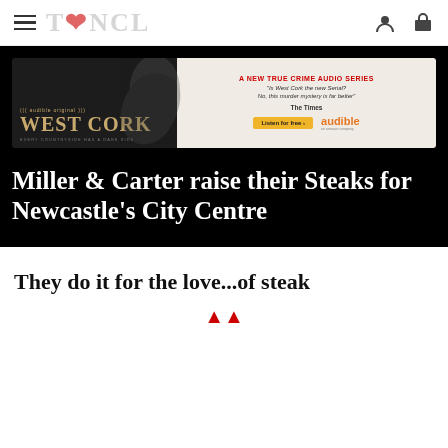T❤NCL (logo/navigation header)
[Figure (illustration): Audible West Cork advertisement banner. Left side: dark background with silhouette of a person, text 'audible original', 'WEST CORK', 'EVERY COUNTRYSIDE HAS A DARK SIDE'. Right side: light background with 'A NEW TRUE CRIME AUDIO SERIES', quote 'Is West Cork the new Serial? No, this murder mystery is far better' - The Times, Listen for free button, Audible logo.]
Miller & Carter raise their Steaks for Newcastle's City Centre
They do it for the love...of steak